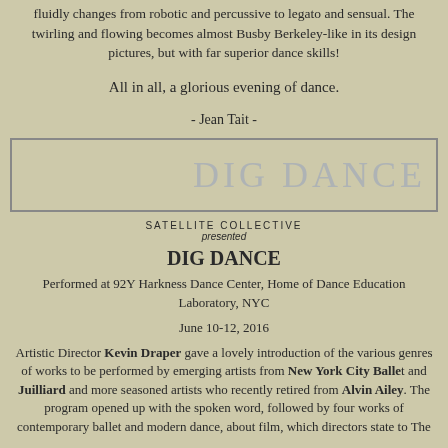fluidly changes from robotic and percussive to legato and sensual. The twirling and flowing becomes almost Busby Berkeley-like in its design pictures, but with far superior dance skills!
All in all, a glorious evening of dance.
- Jean Tait -
[Figure (other): Decorative box with watermark text DIG DANCE in light blue-gray]
SATELLITE COLLECTIVE
presented
DIG DANCE
Performed at 92Y Harkness Dance Center, Home of Dance Education Laboratory, NYC
June 10-12, 2016
Artistic Director Kevin Draper gave a lovely introduction of the various genres of works to be performed by emerging artists from New York City Ballet and Juilliard and more seasoned artists who recently retired from Alvin Ailey. The program opened up with the spoken word, followed by four works of contemporary ballet and modern dance, about film, which directors state to The